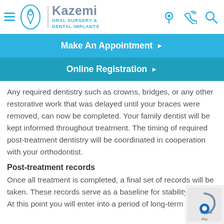Kazemi Oral Surgery & Dental Implants
Make An Appointment
Online Registration
Any required dentistry such as crowns, bridges, or any other restorative work that was delayed until your braces were removed, can now be completed. Your family dentist will be kept informed throughout treatment. The timing of required post-treatment dentistry will be coordinated in cooperation with your orthodontist.
Post-treatment records
Once all treatment is completed, a final set of records will be taken. These records serve as a baseline for stability studies. At this point you will enter into a period of long-term